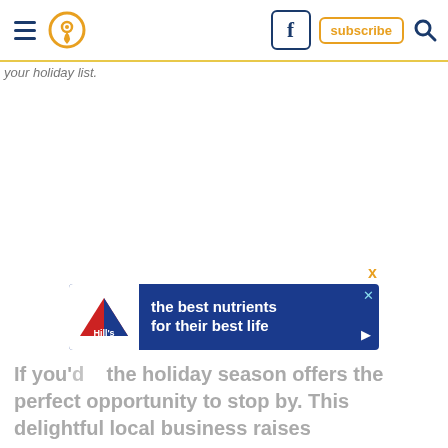Navigation bar with hamburger menu, location pin icon, Facebook icon, subscribe button, and search icon
your holiday list.
[Figure (screenshot): Hill's Pet Nutrition advertisement banner: 'the best nutrients for their best life' on dark blue background with Hill's logo on left side]
If you'd ... the holiday season offers the perfect opportunity to stop by. This delightful local business raises